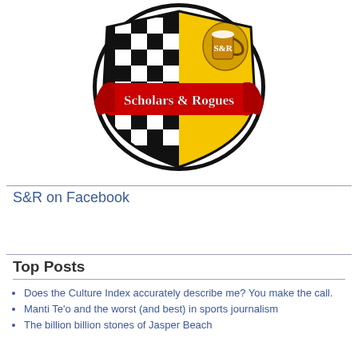[Figure (logo): Scholars & Rogues heraldic shield logo with checkered black and white pattern on the left half, yellow background on right half with a beer stein emblazoned with S&R, red banner across the middle reading 'Scholars & Rogues' in old English script, black circular border]
S&R on Facebook
Top Posts
Does the Culture Index accurately describe me? You make the call.
Manti Te'o and the worst (and best) in sports journalism
The billion billion stones of Jasper Beach